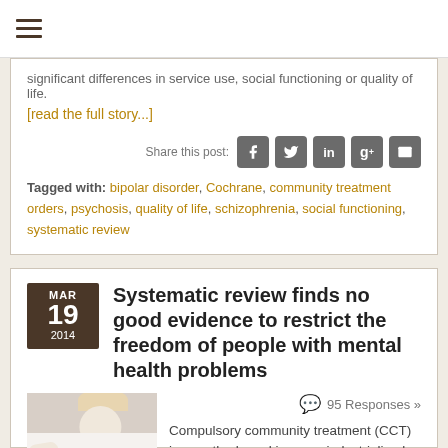☰ (hamburger menu)
significant differences in service use, social functioning or quality of life.
[read the full story...]
Share this post:
Tagged with: bipolar disorder, Cochrane, community treatment orders, psychosis, quality of life, schizophrenia, social functioning, systematic review
Systematic review finds no good evidence to restrict the freedom of people with mental health problems
95 Responses »
[Figure (photo): Photo of a person, partially visible, appearing to be a woman with light hair]
Compulsory community treatment (CCT) is a method used in many industrialized nations, including the UK and Australia, that allows clinicians to legally oblige...